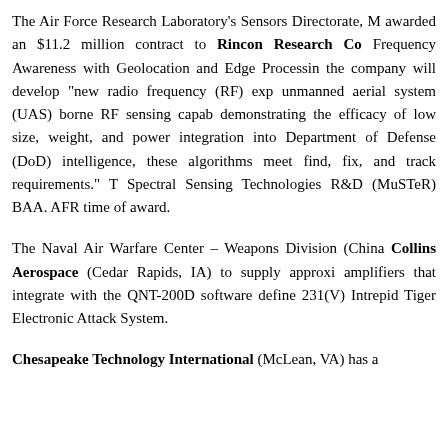The Air Force Research Laboratory's Sensors Directorate, M awarded an $11.2 million contract to Rincon Research Co Frequency Awareness with Geolocation and Edge Processin the company will develop "new radio frequency (RF) exp unmanned aerial system (UAS) borne RF sensing capab demonstrating the efficacy of low size, weight, and power integration into Department of Defense (DoD) intelligence, these algorithms meet find, fix, and track requirements." T Spectral Sensing Technologies R&D (MuSTeR) BAA. AFR time of award.
The Naval Air Warfare Center – Weapons Division (China Collins Aerospace (Cedar Rapids, IA) to supply approxi amplifiers that integrate with the QNT-200D software define 231(V) Intrepid Tiger Electronic Attack System.
Chesapeake Technology International (McLean, VA) has a (AFRL) More text about CTI for a contract in Sensor M...